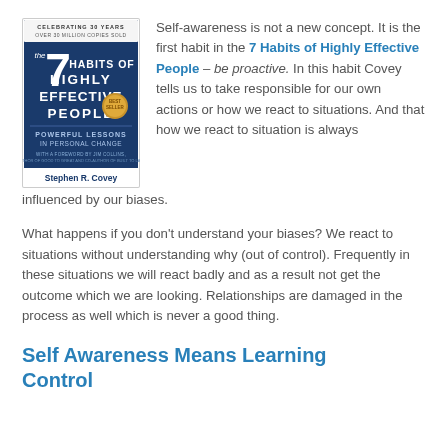[Figure (illustration): Book cover of 'The 7 Habits of Highly Effective People' by Stephen R. Covey, 30th anniversary edition, with blue background and gold medal]
Self-awareness is not a new concept. It is the first habit in the 7 Habits of Highly Effective People – be proactive. In this habit Covey tells us to take responsible for our own actions or how we react to situations. And that how we react to situation is always influenced by our biases.
What happens if you don't understand your biases? We react to situations without understanding why (out of control). Frequently in these situations we will react badly and as a result not get the outcome which we are looking. Relationships are damaged in the process as well which is never a good thing.
Self Awareness Means Learning Control